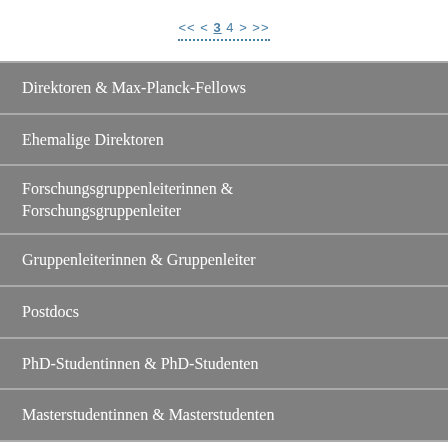<< < 3 4 > >>
Direktoren & Max-Planck-Fellows
Ehemalige Direktoren
Forschungsgruppenleiterinnen & Forschungsgruppenleiter
Gruppenleiterinnen & Gruppenleiter
Postdocs
PhD-Studentinnen & PhD-Studenten
Masterstudentinnen & Masterstudenten